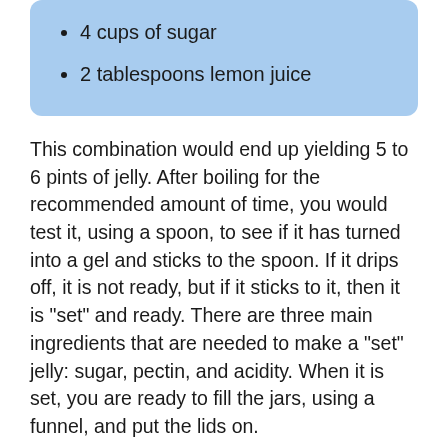4 cups of sugar
2 tablespoons lemon juice
This combination would end up yielding 5 to 6 pints of jelly. After boiling for the recommended amount of time, you would test it, using a spoon, to see if it has turned into a gel and sticks to the spoon. If it drips off, it is not ready, but if it sticks to it, then it is "set" and ready. There are three main ingredients that are needed to make a "set" jelly: sugar, pectin, and acidity. When it is set, you are ready to fill the jars, using a funnel, and put the lids on.
Again, cooking times and recipes for making your own jams and jellies vary, depending on the type of fruit you plan to use. This type of information can easily be found in canning and preserving cookbooks, as well as by conducting searches online. There are many websites that offer a wide variety of recipes for you to